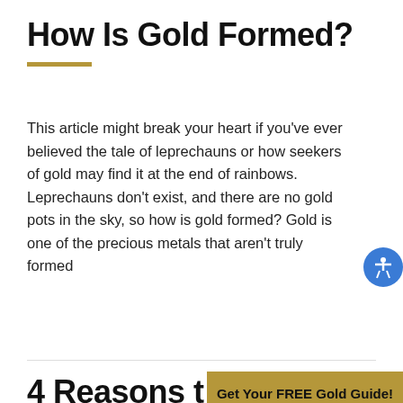How Is Gold Formed?
This article might break your heart if you’ve ever believed the tale of leprechauns or how seekers of gold may find it at the end of rainbows. Leprechauns don’t exist, and there are no gold pots in the sky, so how is gold formed? Gold is one of the precious metals that aren’t truly formed
read more ›
4 Reasons t
Get Your FREE Gold Guide!